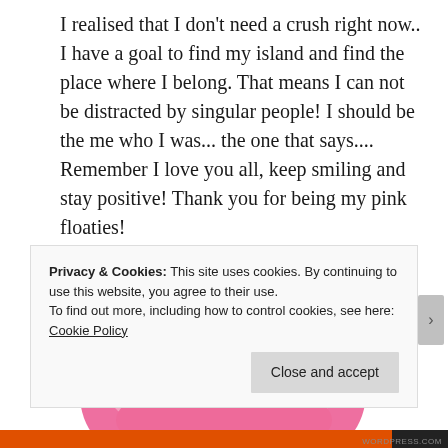I realised that I don't need a crush right now.. I have a goal to find my island and find the place where I belong. That means I can not be distracted by singular people! I should be the me who I was... the one that says.... Remember I love you all, keep smiling and stay positive! Thank you for being my pink floaties!
[Figure (illustration): Anime-style illustration of a character with pink hair and white bows viewed from behind/above, with pink bubble-shaped hair and decorative bow accessories.]
Privacy & Cookies: This site uses cookies. By continuing to use this website, you agree to their use.
To find out more, including how to control cookies, see here: Cookie Policy